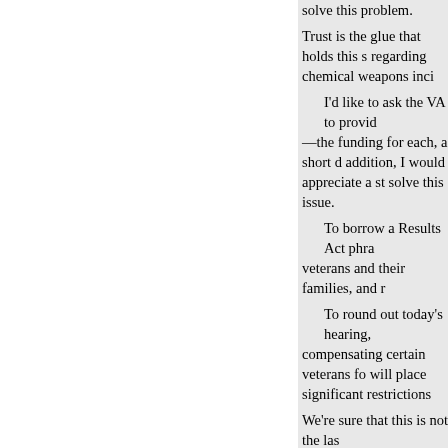solve this problem.
Trust is the glue that holds this s regarding chemical weapons inci
I'd like to ask the VA to provid —the funding for each, a short d addition, I would appreciate a st solve this issue.
To borrow a Results Act phra veterans and their families, and r
To round out today's hearing, compensating certain veterans fo will place significant restrictions
We're sure that this is not the las
Having outlined at least three dif ranking member on the subcomm plate here this morning—a wide areas.
Mr. Filner. [The prepared statem
OPENING STATEMENT OF morning. It's so nice to see you a stress a few points after the Chai